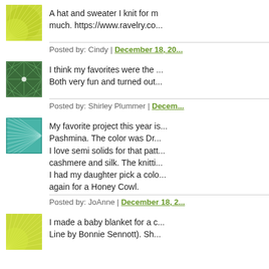[Figure (illustration): Green geometric abstract avatar for Cindy]
A hat and sweater I knit for m... much. https://www.ravelry.co...
Posted by: Cindy | December 18, 20...
[Figure (illustration): Dark green/teal geometric star pattern avatar for Shirley Plummer]
I think my favorites were the ... Both very fun and turned out...
Posted by: Shirley Plummer | Decem...
[Figure (illustration): Teal/cyan fan pattern avatar for JoAnne]
My favorite project this year is... Pashmina. The color was Dr... I love semi solids for that patt... cashmere and silk. The knitti... I had my daughter pick a col... again for a Honey Cowl.
Posted by: JoAnne | December 18, 2...
[Figure (illustration): Green quarter-circle pattern avatar, partial at bottom]
I made a baby blanket for a c... Line by Bonnie Sennott). Sh...